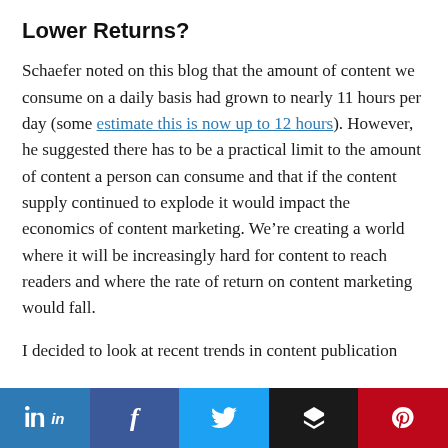Lower Returns?
Schaefer noted on this blog that the amount of content we consume on a daily basis had grown to nearly 11 hours per day (some estimate this is now up to 12 hours). However, he suggested there has to be a practical limit to the amount of content a person can consume and that if the content supply continued to explode it would impact the economics of content marketing. We’re creating a world where it will be increasingly hard for content to reach readers and where the rate of return on content marketing would fall.
I decided to look at recent trends in content publication
in  f  [twitter]  [buffer]  [pinterest]